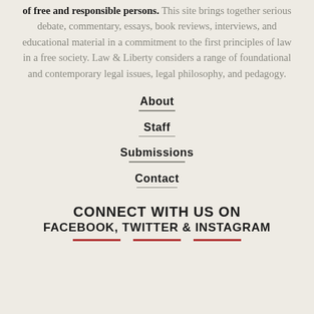of free and responsible persons. This site brings together serious debate, commentary, essays, book reviews, interviews, and educational material in a commitment to the first principles of law in a free society. Law & Liberty considers a range of foundational and contemporary legal issues, legal philosophy, and pedagogy.
About
Staff
Submissions
Contact
CONNECT WITH US ON FACEBOOK, TWITTER & INSTAGRAM